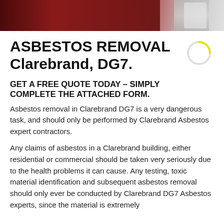[Figure (photo): Banner photo showing asbestos removal scene with red/dark tones and a worker figure visible on the right side]
ASBESTOS REMOVAL Clarebrand, DG7.
GET A FREE QUOTE TODAY – SIMPLY COMPLETE THE ATTACHED FORM.
Asbestos removal in Clarebrand DG7 is a very dangerous task, and should only be performed by Clarebrand Asbestos expert contractors.
Any claims of asbestos in a Clarebrand building, either residential or commercial should be taken very seriously due to the health problems it can cause. Any testing, toxic material identification and subsequent asbestos removal should only ever be conducted by Clarebrand DG7 Asbestos experts, since the material is extremely